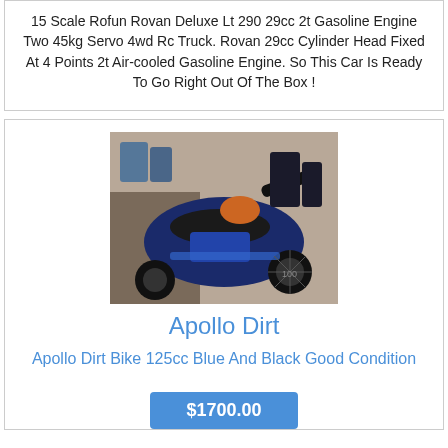15 Scale Rofun Rovan Deluxe Lt 290 29cc 2t Gasoline Engine Two 45kg Servo 4wd Rc Truck. Rovan 29cc Cylinder Head Fixed At 4 Points 2t Air-cooled Gasoline Engine. So This Car Is Ready To Go Right Out Of The Box !
[Figure (photo): Apollo dirt bike, blue and black, viewed from above/side angle, parked indoors]
Apollo Dirt
Apollo Dirt Bike 125cc Blue And Black Good Condition
$1700.00